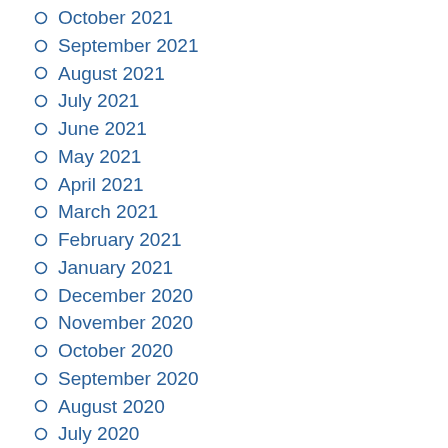October 2021
September 2021
August 2021
July 2021
June 2021
May 2021
April 2021
March 2021
February 2021
January 2021
December 2020
November 2020
October 2020
September 2020
August 2020
July 2020
June 2020
January 2020
April 2019
May 2018